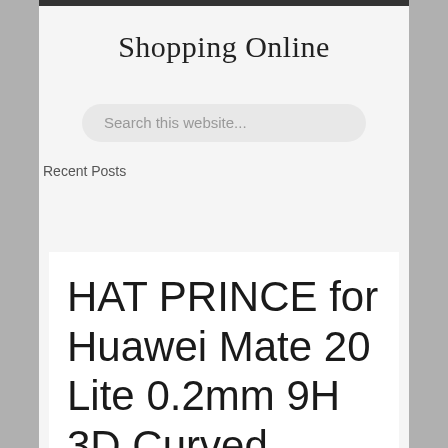Shopping Online
Search this website...
Recent Posts
HAT PRINCE for Huawei Mate 20 Lite 0.2mm 9H 3D Curved Carbon Fiber Edge